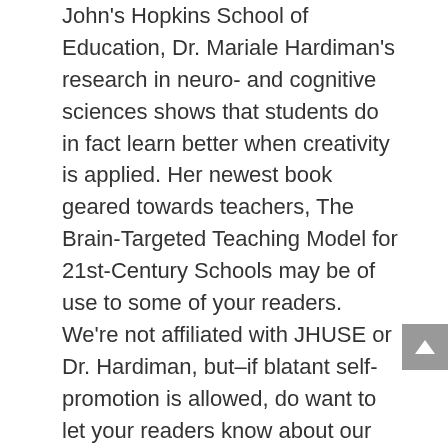John's Hopkins School of Education, Dr. Mariale Hardiman's research in neuro- and cognitive sciences shows that students do in fact learn better when creativity is applied. Her newest book geared towards teachers, The Brain-Targeted Teaching Model for 21st-Century Schools may be of use to some of your readers. We're not affiliated with JHUSE or Dr. Hardiman, but–if blatant self-promotion is allowed, do want to let your readers know about our own creative arts mentoring program at http://www.theacmenetwork.org, which allows students to upload creative projects to our community and get feedback on their work from other